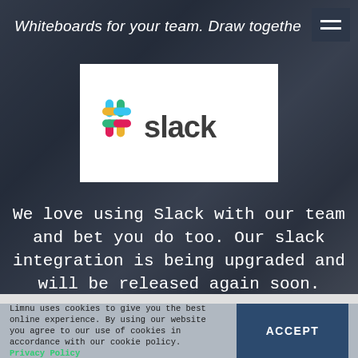Whiteboards for your team. Draw together
[Figure (logo): Slack logo — colorful hashtag symbol with '#slack' text in dark gray on white background]
We love using Slack with our team and bet you do too. Our slack integration is being upgraded and will be released again soon.
Limnu uses cookies to give you the best online experience. By using our website you agree to our use of cookies in accordance with our cookie policy. Privacy Policy